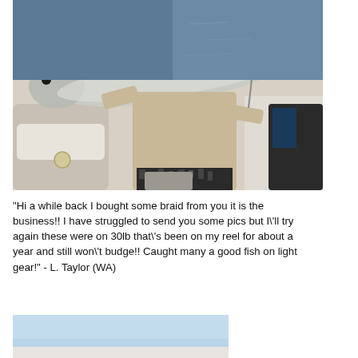[Figure (photo): A man standing on a boat holding up a large silver fish (appears to be a trevally or similar species). He is wearing a light-colored long sleeve shirt and patterned shorts. The ocean is visible in the background.]
"Hi a while back I bought some braid from you it is the business!! I have struggled to send you some pics but I'll try again these were on 30lb that's been on my reel for about a year and still won't budge!! Caught many a good fish on light gear!" - L. Taylor (WA)
[Figure (photo): Partial photo showing a light blue sky with the top of what appears to be a boat or fishing equipment visible at the bottom edge.]